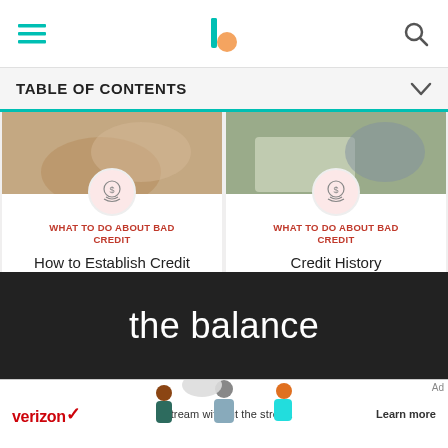The Balance — navigation bar with hamburger menu, logo, and search icon
TABLE OF CONTENTS
[Figure (photo): Card 1: photo of hands (credit topic) with coin/dollar icon overlay. Category: WHAT TO DO ABOUT BAD CREDIT. Title: How to Establish Credit Without Any Credit]
[Figure (photo): Card 2: photo of person at laptop with coin/dollar icon overlay. Category: WHAT TO DO ABOUT BAD CREDIT. Title: Credit History]
the balance
[Figure (illustration): Verizon advertisement banner: illustrated characters, Verizon logo, tagline 'Stream without the stress.', CTA 'Learn more']